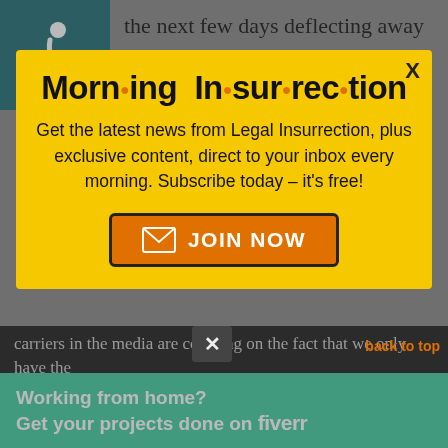[Figure (other): Accessibility wheelchair icon on teal background]
the next few days deflecting away from what is actually happening in Syria. It takes attention away, even for a single news cycle, from a
[Figure (infographic): Morning Insurrection popup modal with yellow background. Title: Morn·ing In·sur·rec·tion. Body: Get the latest news from Legal Insurrection, plus exclusive content, direct to your inbox every morning. Subscribe today – it's free! Orange JOIN NOW button with envelope icon. X close button.]
carriers in the media are counting on the fact that we only have the
[Figure (infographic): Fiverr advertisement banner: Working from home? Get your projects done on fiverr]
story at any given time in any given